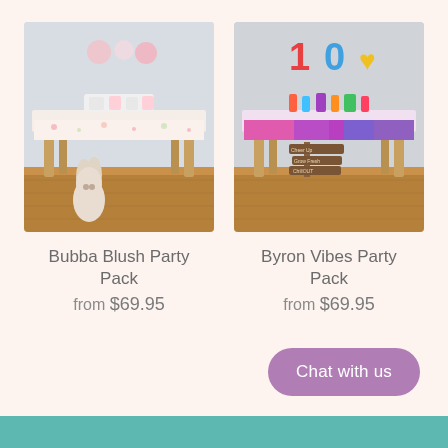[Figure (photo): Party table setup with floral tablecloth, white dishware, and a stuffed bunny toy on the floor — Bubba Blush Party Pack product photo]
[Figure (photo): Party table setup with colorful tie-dye tablecloth, decorative props including '10' sign, and a wooden directional sign — Byron Vibes Party Pack product photo]
Bubba Blush Party Pack
from $69.95
Byron Vibes Party Pack
from $69.95
Chat with us